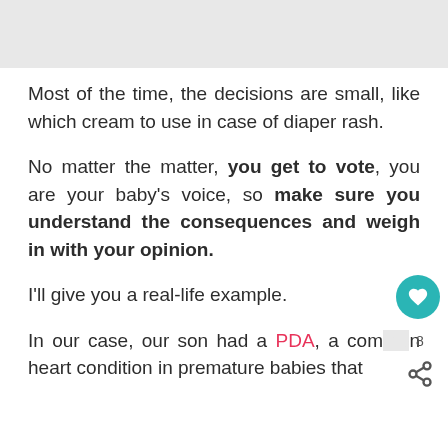[Figure (photo): Gray/light image at the top of the page, partially visible, appears to be a cropped photo.]
Most of the time, the decisions are small, like which cream to use in case of diaper rash.
No matter the matter, you get to vote, you are your baby's voice, so make sure you understand the consequences and weigh in with your opinion.
I'll give you a real-life example.
In our case, our son had a PDA, a common heart condition in premature babies that